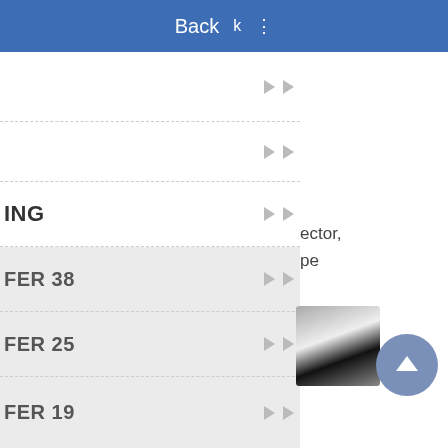Back
ING
FER 38
FER 25
FER 19
BLE SIDED
ector, pe